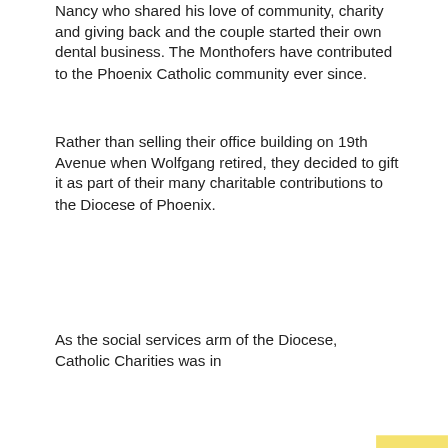Nancy who shared his love of community, charity and giving back and the couple started their own dental business. The Monthofers have contributed to the Phoenix Catholic community ever since.
Rather than selling their office building on 19th Avenue when Wolfgang retired, they decided to gift it as part of their many charitable contributions to the Diocese of Phoenix.
As the social services arm of the Diocese, Catholic Charities was in